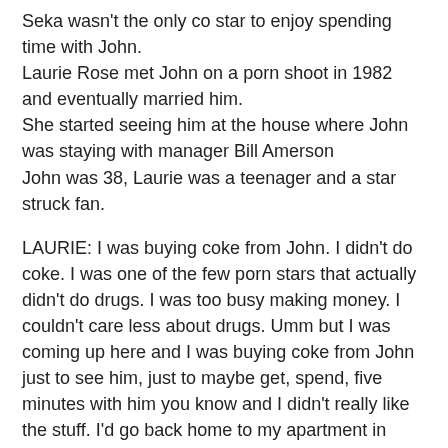Seka wasn't the only co star to enjoy spending time with John. Laurie Rose met John on a porn shoot in 1982 and eventually married him. She started seeing him at the house where John was staying with manager Bill Amerson John was 38, Laurie was a teenager and a star struck fan.
LAURIE: I was buying coke from John. I didn't do coke. I was one of the few porn stars that actually didn't do drugs. I was too busy making money. I couldn't care less about drugs. Umm but I was coming up here and I was buying coke from John just to see him, just to maybe get, spend, five minutes with him you know and I didn't really like the stuff. I'd go back home to my apartment in Tarzana and I'd give it to my friends – they loved me I gotta tell ya, it was like 'oh here' you know